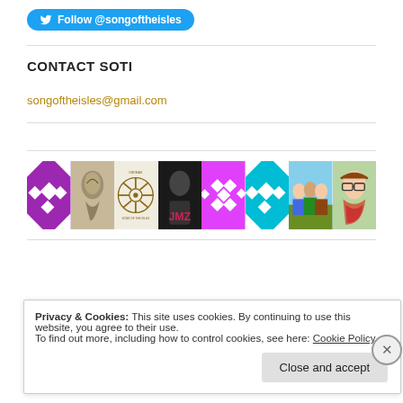[Figure (other): Twitter Follow button with bird icon and text 'Follow @songoftheisles']
CONTACT SOTI
songoftheisles@gmail.com
[Figure (photo): A strip of avatar/profile images: purple geometric pattern, stone relief sculpture, ship wheel logo (SOTI), dark portrait with JMZ text, pink geometric pattern, teal geometric pattern, group photo outdoors, woman with glasses]
Privacy & Cookies: This site uses cookies. By continuing to use this website, you agree to their use.
To find out more, including how to control cookies, see here: Cookie Policy
Close and accept